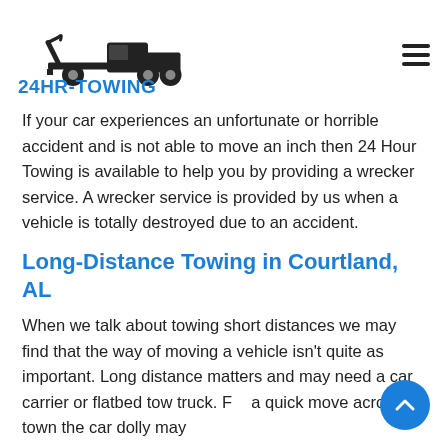24HR-TOWING [logo with tow truck]
If your car experiences an unfortunate or horrible accident and is not able to move an inch then 24 Hour Towing is available to help you by providing a wrecker service. A wrecker service is provided by us when a vehicle is totally destroyed due to an accident.
Long-Distance Towing in Courtland, AL
When we talk about towing short distances we may find that the way of moving a vehicle isn't quite as important. Long distance matters and may need a car carrier or flatbed tow truck. For a quick move across town the car dolly may